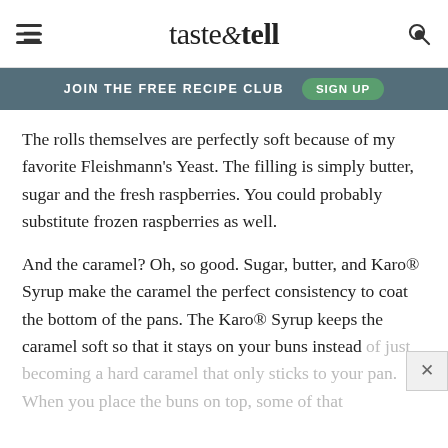taste & tell
JOIN THE FREE RECIPE CLUB  SIGN UP
The rolls themselves are perfectly soft because of my favorite Fleishmann's Yeast. The filling is simply butter, sugar and the fresh raspberries. You could probably substitute frozen raspberries as well.
And the caramel? Oh, so good. Sugar, butter, and Karo® Syrup make the caramel the perfect consistency to coat the bottom of the pans. The Karo® Syrup keeps the caramel soft so that it stays on your buns instead of just becoming a hard caramel that only sticks to your pan. When you place the buns on top, some of that